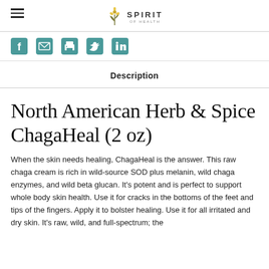Spirit of Health
[Figure (infographic): Social sharing icons: Facebook, Email/envelope, Print, Twitter, LinkedIn]
Description
North American Herb & Spice ChagaHeal (2 oz)
When the skin needs healing, ChagaHeal is the answer. This raw chaga cream is rich in wild-source SOD plus melanin, wild chaga enzymes, and wild beta glucan. It's potent and is perfect to support whole body skin health. Use it for cracks in the bottoms of the feet and tips of the fingers. Apply it to bolster healing. Use it for all irritated and dry skin. It's raw, wild, and full-spectrum; the